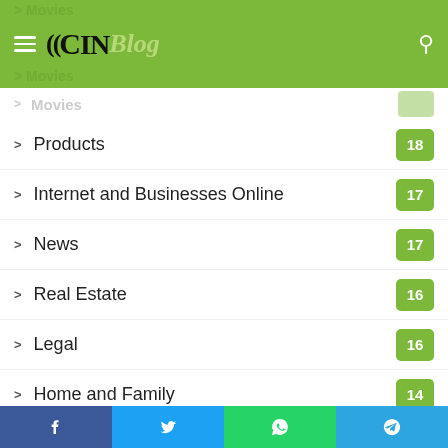CIN Blog
Products 18
Internet and Businesses Online 17
News 17
Real Estate 16
Legal 16
Home and Family 14
Gaming 14
Gadgets 13
Graphic Designing 13
Kids and Teens